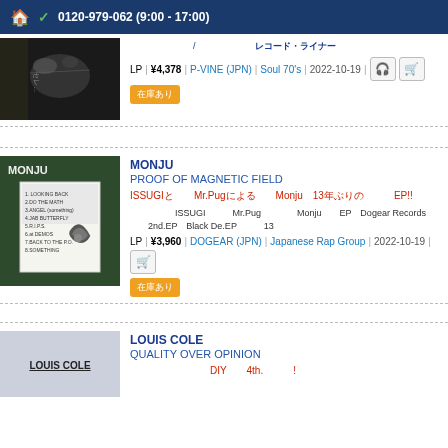🏠 ✓ 0120-979-062 (9:00 - 17:00)
LP | ¥4,378 | P-VINE (JPN) | Soul 70's | 2022-10-19
MONJU
PROOF OF MAGNETIC FIELD
ISSUGIとMr.PugによるMonju、13年ぶりのEP!!
ISSUGIとMr.PugによるMonjuのEP。Dogear Records、2nd.EP「Black De.EP」以来13年ぶりの作品。
LP | ¥3,960 | DOGEAR (JPN) | Japanese Rap Group | 2022-10-19
LOUIS COLE
QUALITY OVER OPINION
DIY精神で制作された4th.アルバム!